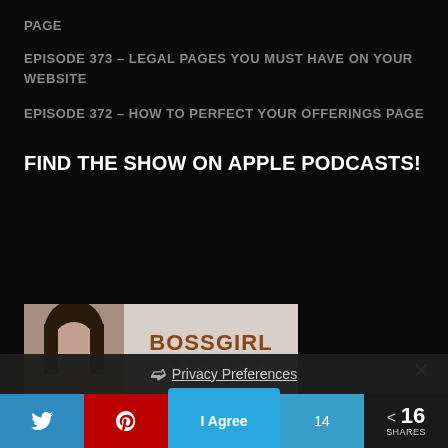PAGE
EPISODE 373 – LEGAL PAGES YOU MUST HAVE ON YOUR WEBSITE
EPISODE 372 – HOW TO PERFECT YOUR OFFERINGS PAGE
FIND THE SHOW ON APPLE PODCASTS!
[Figure (logo): Boss Girl Creative podcast logo with woman portrait and text BOSSGIRL CREATIVE]
× (close button)
❯ Privacy Preferences
I Agree  14  < 16 SHARES